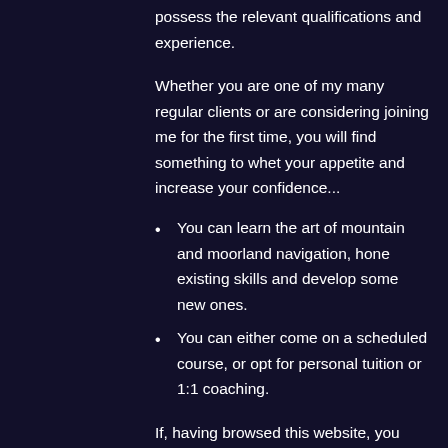possess the relevant qualifications and experience.
Whether you are one of my many regular clients or are considering joining me for the first time, you will find something to whet your appetite and increase your confidence...
You can learn the art of mountain and moorland navigation, hone existing skills and develop some new ones.
You can either come on a scheduled course, or opt for personal tuition or 1:1 coaching.
If, having browsed this website, you have any queries, please feel free to get in